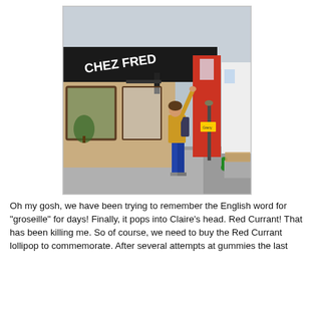[Figure (photo): A woman in a yellow jacket and jeans reaches up to touch the sign of a French restaurant called 'Chez Fred' on a street with storefronts.]
Oh my gosh, we have been trying to remember the English word for "groseille" for days! Finally, it pops into Claire's head. Red Currant! That has been killing me. So of course, we need to buy the Red Currant lollipop to commemorate. After several attempts at gummies the last